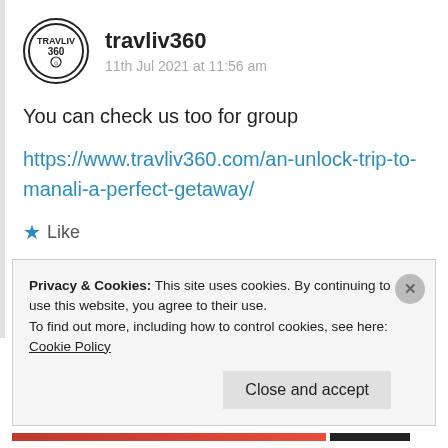[Figure (logo): Travliv360 circular logo with text TRAVLIV 360 inside a circle]
travliv360
11th Jul 2021 at 11:56 am
You can check us too for group
https://www.travliv360.com/an-unlock-trip-to-manali-a-perfect-getaway/
★ Like
Log in to Reply
Privacy & Cookies: This site uses cookies. By continuing to use this website, you agree to their use.
To find out more, including how to control cookies, see here: Cookie Policy
Close and accept